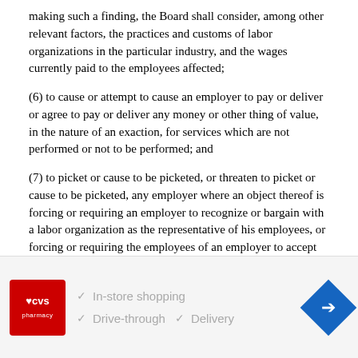making such a finding, the Board shall consider, among other relevant factors, the practices and customs of labor organizations in the particular industry, and the wages currently paid to the employees affected;
(6) to cause or attempt to cause an employer to pay or deliver or agree to pay or deliver any money or other thing of value, in the nature of an exaction, for services which are not performed or not to be performed; and
(7) to picket or cause to be picketed, or threaten to picket or cause to be picketed, any employer where an object thereof is forcing or requiring an employer to recognize or bargain with a labor organization as the representative of his employees, or forcing or requiring the employees of an employer to accept or select such labor organization as their collective- bargaining representative, unless such labor organization is currently ⌄  d as the representative of such employees:
[Figure (other): CVS Pharmacy advertisement banner with logo, checkmarks for In-store shopping, Drive-through, and Delivery features, and a navigation arrow icon.]